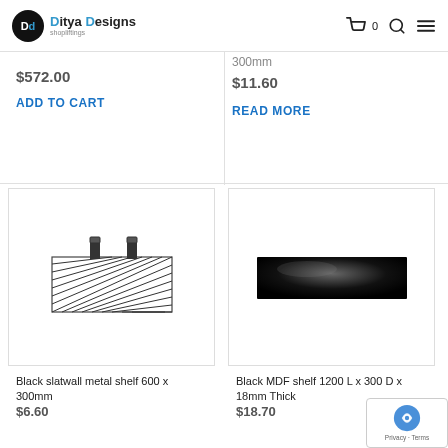Ditya Designs
$572.00
ADD TO CART
300mm
$11.60
READ MORE
[Figure (photo): Black slatwall metal shelf 600 x 300mm product photo on white background]
Black slatwall metal shelf 600 x 300mm
$6.60
[Figure (photo): Black MDF shelf 1200 L x 300 D x 18mm Thick product photo on white background]
Black MDF shelf 1200 L x 300 D x 18mm Thick
$18.70